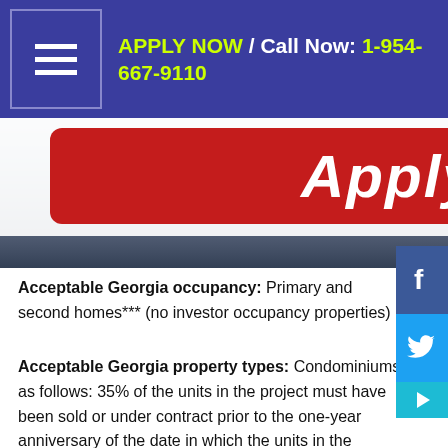APPLY NOW / Call Now: 1-954-667-9110
[Figure (photo): Red 'Apply Now' button on a dark city skyline background]
Acceptable Georgia occupancy: Primary and second homes*** (no investor occupancy properties)
Acceptable Georgia property types: Condominiums as follows: 35% of the units in the project must have been sold or under contract prior to the one-year anniversary of the date in which the units in the project were first marketed. 55% of the units in the project must have been sold or under contract prior to the eighteenth month anniversary of the date in which the units in the